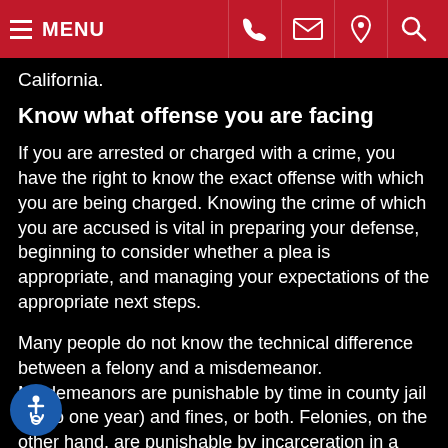MENU [navigation icons: phone, email, location, search]
California.
Know what offense you are facing
If you are arrested or charged with a crime, you have the right to know the exact offense with which you are being charged. Knowing the crime of which you are accused is vital in preparing your defense, beginning to consider whether a plea is appropriate, and managing your expectations of the appropriate next steps.
Many people do not know the technical difference between a felony and a misdemeanor. Misdemeanors are punishable by time in county jail (up to one year) and fines, or both. Felonies, on the other hand, are punishable by incarceration in a state prison or county jail, as well as heavy fines and restitution to any victims. Felony convictions often carry additional penalties such as limitations on your right to vote, prohibitions on firearm ownership, and citizenship consequences. It is important that you know the specific crime you are facing and what